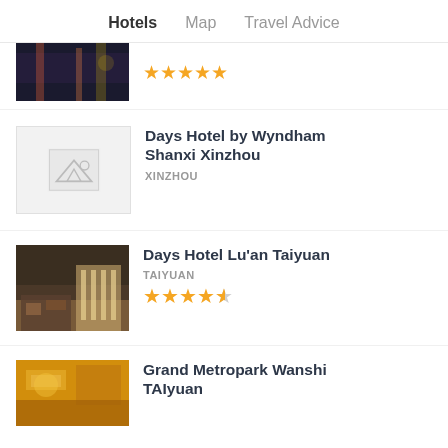Hotels   Map   Travel Advice
[Figure (photo): Partial hotel photo cropped at top, dark city scene]
★★★★★ (star rating, partial/top-cropped)
[Figure (photo): Placeholder image with mountain icon (no photo available)]
Days Hotel by Wyndham Shanxi Xinzhou
XINZHOU
[Figure (photo): Hotel restaurant interior with warm lighting, dining tables]
Days Hotel Lu'an Taiyuan
TAIYUAN
★★★★½ (4.5 star rating)
[Figure (photo): Hotel interior with warm yellow lighting, partial view]
Grand Metropark Wanshi TAiyuan